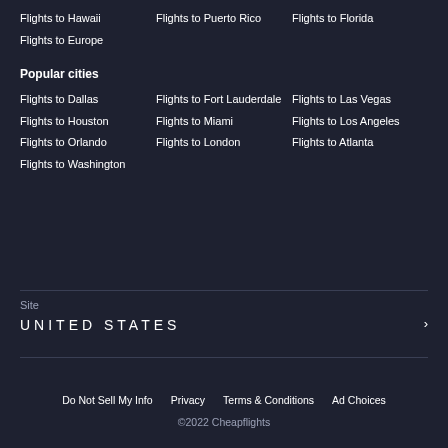Flights to Hawaii
Flights to Puerto Rico
Flights to Florida
Flights to Europe
Popular cities
Flights to Dallas
Flights to Fort Lauderdale
Flights to Las Vegas
Flights to Houston
Flights to Miami
Flights to Los Angeles
Flights to Orlando
Flights to London
Flights to Atlanta
Flights to Washington
Site
UNITED STATES
Do Not Sell My Info   Privacy   Terms & Conditions   Ad Choices
©2022 Cheapflights